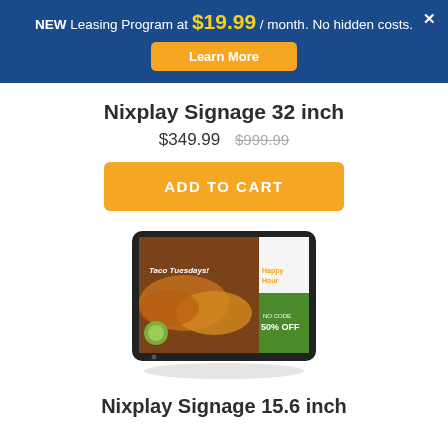NEW Leasing Program at $19.99 / month. No hidden costs. Learn More
Nixplay Signage 32 inch
$349.99  $999.99
ADD TO CART
[Figure (photo): Nixplay Signage 32 inch digital display tablet showing a Taco Tuesdays promotional screen with tacos image and Happy Hour 50% Off signage]
Nixplay Signage 15.6 inch